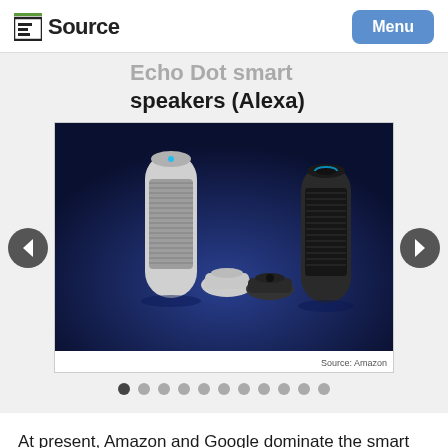E Source | Menu
Echo Dot smart speakers (Alexa)
[Figure (photo): Amazon Echo family of smart speakers: white Amazon Echo, Amazon Echo Dot (white), Amazon Echo Dot (black), and Amazon Echo (black) on a dark blue background. Source: Amazon]
Source: Amazon
At present, Amazon and Google dominate the smart home virtual assistant market and provide open-